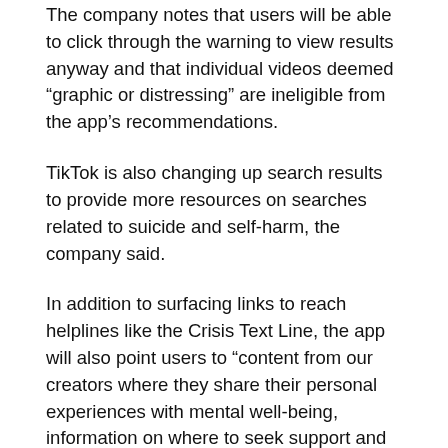The company notes that users will be able to click through the warning to view results anyway and that individual videos deemed “graphic or distressing” are ineligible from the app’s recommendations.
TikTok is also changing up search results to provide more resources on searches related to suicide and self-harm, the company said.
In addition to surfacing links to reach helplines like the Crisis Text Line, the app will also point users to “content from our creators where they share their personal experiences with mental well-being, information on where to seek support and advice on how to talk to loved ones about these issues”.
Last year in June, the Indian government banned 59 apps developed by Chinese firms, including TikTok, over concerns that these apps were engaging in activities that threatened